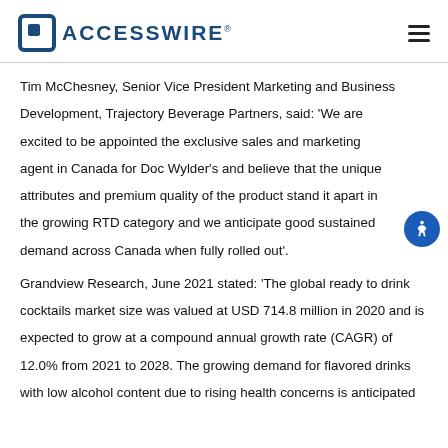ACCESSWIRE®
Tim McChesney, Senior Vice President Marketing and Business Development, Trajectory Beverage Partners, said: 'We are excited to be appointed the exclusive sales and marketing agent in Canada for Doc Wylder's and believe that the unique attributes and premium quality of the product stand it apart in the growing RTD category and we anticipate good sustained demand across Canada when fully rolled out'.
Grandview Research, June 2021 stated: 'The global ready to drink cocktails market size was valued at USD 714.8 million in 2020 and is expected to grow at a compound annual growth rate (CAGR) of 12.0% from 2021 to 2028. The growing demand for flavored drinks with low alcohol content due to rising health concerns is anticipated